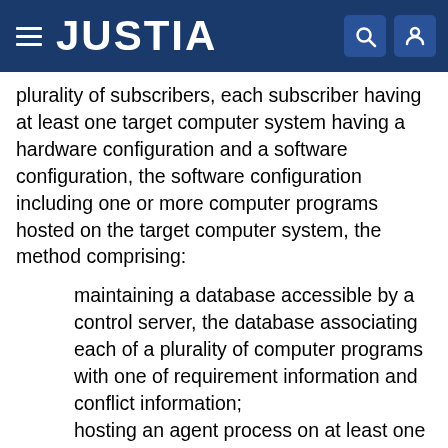JUSTIA
plurality of subscribers, each subscriber having at least one target computer system having a hardware configuration and a software configuration, the software configuration including one or more computer programs hosted on the target computer system, the method comprising:
maintaining a database accessible by a control server, the database associating each of a plurality of computer programs with one of requirement information and conflict information;
hosting an agent process on at least one target computer system of each subscriber responsive to subscriber queries;
at the agent process, detecting a subscriber query related to a proposed change in the software configuration of at least one of the target